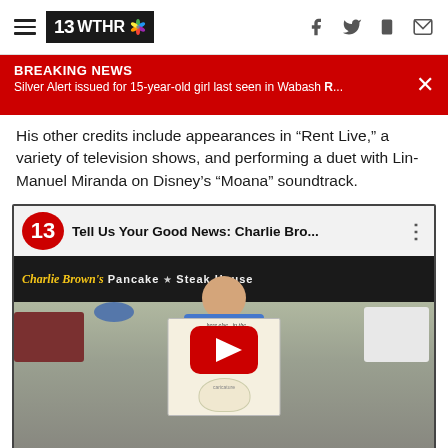13 WTHR
BREAKING NEWS — Silver Alert issued for 15-year-old girl last seen in Wabash R...
His other credits include appearances in "Rent Live," a variety of television shows, and performing a duet with Lin-Manuel Miranda on Disney's "Moana" soundtrack.
[Figure (screenshot): YouTube video thumbnail showing a man holding a caricature drawing outside Charlie Brown's Pancake and Steak House restaurant. The video title reads 'Tell Us Your Good News: Charlie Bro...' A red YouTube play button is overlaid in the center. The channel badge shows '13' in a red circle.]